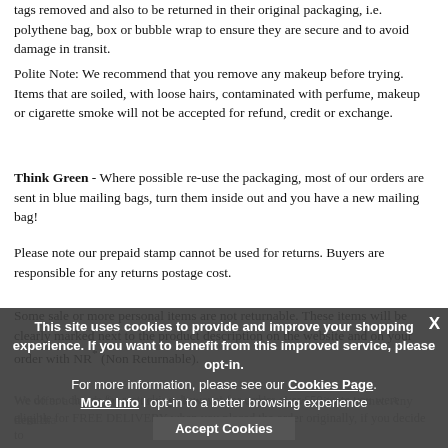tags removed and also to be returned in their original packaging, i.e. polythene bag, box or bubble wrap to ensure they are secure and to avoid damage in transit.
Polite Note: We recommend that you remove any makeup before trying. Items that are soiled, with loose hairs, contaminated with perfume, makeup or cigarette smoke will not be accepted for refund, credit or exchange.
Think Green - Where possible re-use the packaging, most of our orders are sent in blue mailing bags, turn them inside out and you have a new mailing bag!
Please note our prepaid stamp cannot be used for returns. Buyers are responsible for any returns postage cost.
Some sale or more personal items are not returnable. These items will be clearly marked next to the product description on the website and on your order with NR* (Non Returnable).
We offer a hassle free returns policy as long as the above criteria is met. Any item th... d... explaining why.
We do not charge for restocking, however for orders over £50 were you were eligible for FREE DELIVERY when you placed the order originally, if you decide to
This site uses cookies to provide and improve your shopping experience. If you want to benefit from this improved service, please opt-in. For more information, please see our Cookies Page. More Info I opt-in to a better browsing experience Accept Cookies